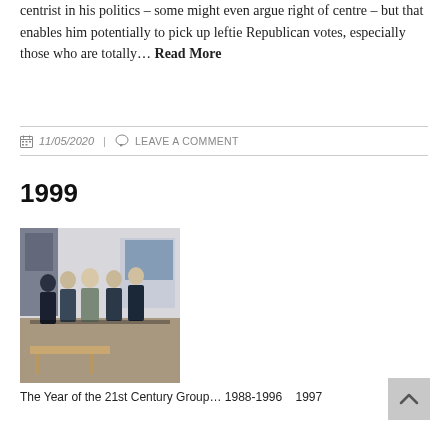centrist in his politics – some might even argue right of centre – but that enables him potentially to pick up leftie Republican votes, especially those who are totally… Read More
11/05/2020 | LEAVE A COMMENT
1999
[Figure (photo): Group photo of several men in suits standing together indoors]
The Year of the 21st Century Group… 1988-1996    1997